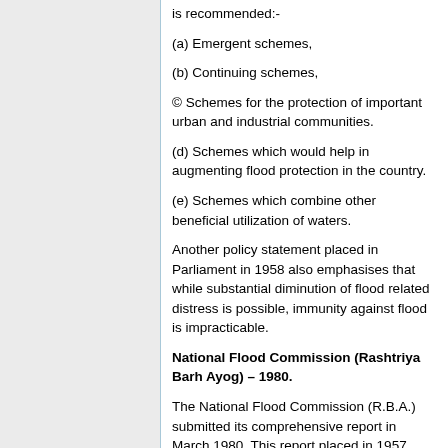is recommended:-
(a) Emergent schemes,
(b) Continuing schemes,
© Schemes for the protection of important urban and industrial communities.
(d) Schemes which would help in augmenting flood protection in the country.
(e) Schemes which combine other beneficial utilization of waters.
Another policy statement placed in Parliament in 1958 also emphasises that while substantial diminution of flood related distress is possible, immunity against flood is impracticable.
National Flood Commission (Rashtriya Barh Ayog) – 1980.
The National Flood Commission (R.B.A.) submitted its comprehensive report in March 1980. This report placed in 1957